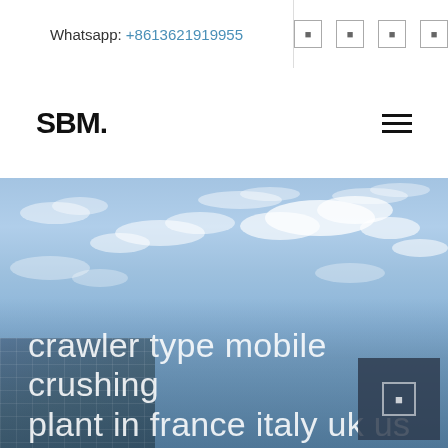Whatsapp: +8613621919955
SBM.
[Figure (photo): Hero banner image showing a blue sky with white clouds and a glass building in the lower left corner. Title text overlay reads: crawler type mobile crushing plant in france italy uk us]
crawler type mobile crushing plant in france italy uk us